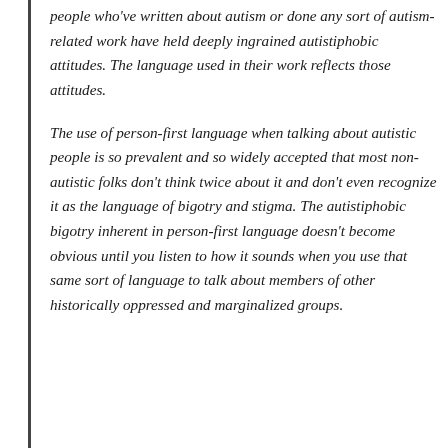people who've written about autism or done any sort of autism-related work have held deeply ingrained autistiphobic attitudes. The language used in their work reflects those attitudes.
The use of person-first language when talking about autistic people is so prevalent and so widely accepted that most non-autistic folks don't think twice about it and don't even recognize it as the language of bigotry and stigma. The autistiphobic bigotry inherent in person-first language doesn't become obvious until you listen to how it sounds when you use that same sort of language to talk about members of other historically oppressed and marginalized groups.